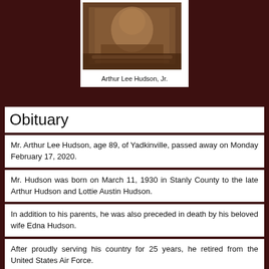[Figure (photo): Portrait photograph of Arthur Lee Hudson, Jr., shown from shoulders up, seated in what appears to be a wooden chair or pew setting with dark wood paneling visible in the background.]
Arthur Lee Hudson, Jr.
Obituary
Mr. Arthur Lee Hudson, age 89, of Yadkinville, passed away on Monday February 17, 2020.
Mr. Hudson was born on March 11, 1930 in Stanly County to the late Arthur Hudson and Lottie Austin Hudson.
In addition to his parents, he was also preceded in death by his beloved wife Edna Hudson.
After proudly serving his country for 25 years, he retired from the United States Air Force.
Those left to cherish his memory are one son Allan (Tammie) Hudson of Albemarle; three daughters Janine (Allen)